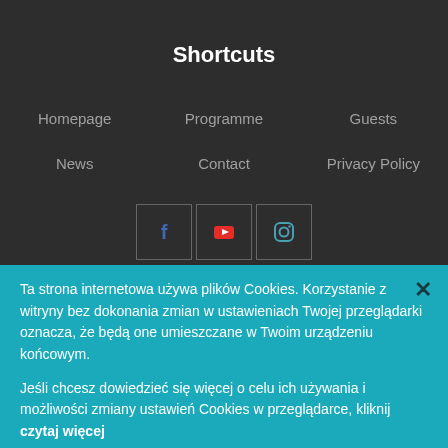Shortcuts
Homepage
Programme
Guests
News
Contact
Privacy Policy
[Figure (other): Social media icons: Facebook, YouTube, Instagram]
Ta strona internetowa używa plików Cookies. Korzystanie z witryny bez dokonania zmian w ustawieniach Twojej przeglądarki oznacza, że będą one umieszczane w Twoim urządzeniu końcowym.
Jeśli chcesz dowiedzieć się więcej o celu ich używania i możliwości zmiany ustawień Cookies w przeglądarce, kliknij czytaj więcej